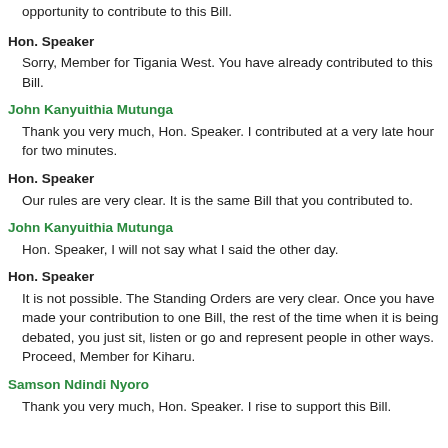opportunity to contribute to this Bill.
Hon. Speaker
Sorry, Member for Tigania West. You have already contributed to this Bill.
John Kanyuithia Mutunga
Thank you very much, Hon. Speaker. I contributed at a very late hour for two minutes.
Hon. Speaker
Our rules are very clear. It is the same Bill that you contributed to.
John Kanyuithia Mutunga
Hon. Speaker, I will not say what I said the other day.
Hon. Speaker
It is not possible. The Standing Orders are very clear. Once you have made your contribution to one Bill, the rest of the time when it is being debated, you just sit, listen or go and represent people in other ways. Proceed, Member for Kiharu.
Samson Ndindi Nyoro
Thank you very much, Hon. Speaker. I rise to support this Bill.